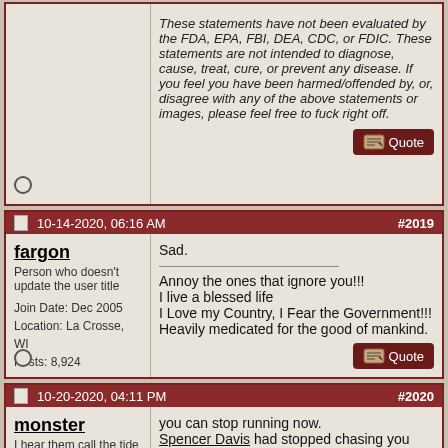These statements have not been evaluated by the FDA, EPA, FBI, DEA, CDC, or FDIC. These statements are not intended to diagnose, cause, treat, cure, or prevent any disease. If you feel you have been harmed/offended by, or, disagree with any of the above statements or images, please feel free to fuck right off.
10-14-2020, 06:16 AM #2019
fargon
Person who doesn't update the user title
Join Date: Dec 2005
Location: La Crosse, WI
Posts: 8,924
Sad.

Annoy the ones that ignore you!!!
I live a blessed life
I Love my Country, I Fear the Government!!!
Heavily medicated for the good of mankind.
10-20-2020, 04:11 PM #2020
monster
I hear them call the tide
you can stop running now. Spencer Davis had stopped chasing you